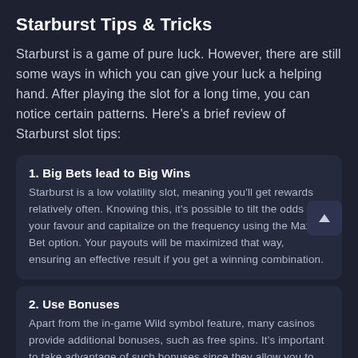Starburst Tips & Tricks
Starburst is a game of pure luck. However, there are still some ways in which you can give your luck a helping hand. After playing the slot for a long time, you can notice certain patterns. Here's a brief review of Starburst slot tips:
1. Big Bets lead to Big Wins
Starburst is a low volatility slot, meaning you'll get rewards relatively often. Knowing this, it's possible to tilt the odds in your favour and capitalize on the frequency using the Max Bet option. Your payouts will be maximized that way, ensuring an effective result if you get a winning combination.
2. Use Bonuses
Apart from the in-game Wild symbol feature, many casinos provide additional bonuses, such as free spins. It's important to take advantage of such bonuses since they allow you to expand your budget, your playing time, and the probability of winning big!